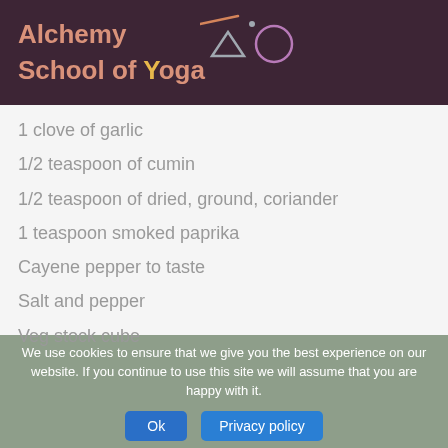Alchemy School of Yoga
1 clove of garlic
1/2 teaspoon of cumin
1/2 teaspoon of dried, ground, coriander
1 teaspoon smoked paprika
Cayene pepper to taste
Salt and pepper
Veg stock cube
We use cookies to ensure that we give you the best experience on our website. If you continue to use this site we will assume that you are happy with it.
Ok | Privacy policy